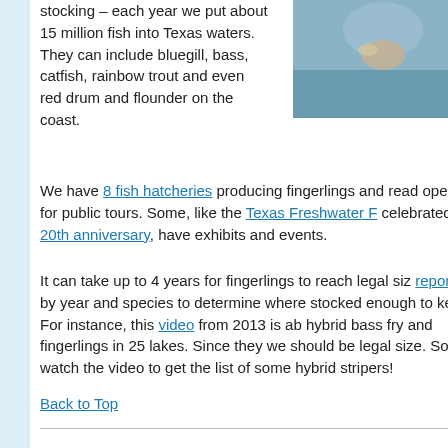[Figure (photo): Photo of a person holding a large fish, outdoors near water]
stocking – each year we put about 15 million fish into Texas waters. They can include bluegill, bass, catfish, rainbow trout and even red drum and flounder on the coast.
We have 8 fish hatcheries producing fingerlings and ready open for public tours. Some, like the Texas Freshwater F celebrated its 20th anniversary, have exhibits and events.
It can take up to 4 years for fingerlings to reach legal size. reports by year and species to determine where stocked enough to keep. For instance, this video from 2013 is about hybrid bass fry and fingerlings in 25 lakes. Since they were should be legal size. So watch the video to get the list of some hybrid stripers!
Back to Top